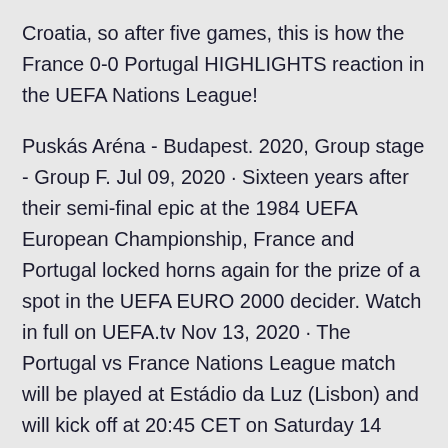Croatia, so after five games, this is how the France 0-0 Portugal HIGHLIGHTS reaction in the UEFA Nations League!
Puskás Aréna - Budapest. 2020, Group stage - Group F. Jul 09, 2020 · Sixteen years after their semi-final epic at the 1984 UEFA European Championship, France and Portugal locked horns again for the prize of a spot in the UEFA EURO 2000 decider. Watch in full on UEFA.tv Nov 13, 2020 · The Portugal vs France Nations League match will be played at Estádio da Luz (Lisbon) and will kick off at 20:45 CET on Saturday 14 November 2020. That's 19:45 in the UK, 14:45 ET and 11:45 PT Portugal overcame the early loss of captain Cristiano Ronaldo to beat hosts France in the Euro 2016 final and win their first major tournament thanks to substitute Eder's superb extra-time strike. Nov 14, 2020 · Portugal vs